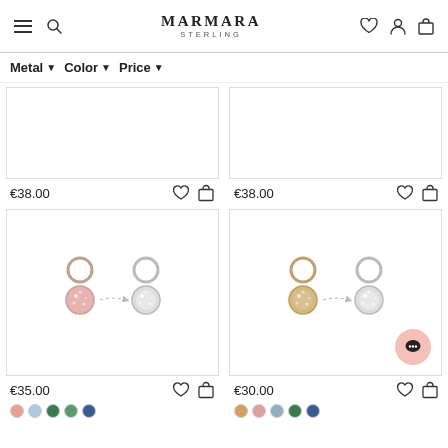MARMARA STERLING — navigation header with menu, search, wishlist, account, cart icons
Metal ▼  Color ▼  Price ▼
[Figure (photo): Product image placeholder (top-left), price €38.00 with wishlist and cart icons]
[Figure (photo): Product image placeholder (top-right), price €38.00 with wishlist and cart icons]
[Figure (photo): Earring charms in rose gold and silver with pink crystals, price €35.00]
[Figure (photo): Earring charms in gold and silver with white crystals, price €30.00 with chat bubble]